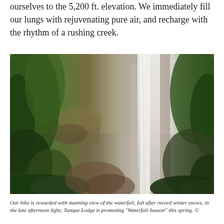ourselves to the 5,200 ft. elevation. We immediately fill our lungs with rejuvenating pure air, and recharge with the rhythm of a rushing creek.
[Figure (photo): Outdoor nature photo showing a forested mountain scene with a rushing waterfall on the right side. The left portion shows green trees and scrubby vegetation on a hillside; the right portion shows white rushing water cascading over gray rock walls.]
Our hike is rewarded with stunning view of the waterfall, full after record winter snows, in the late afternoon light; Tanque Lodge is promoting "Waterfall Season" this spring. ©